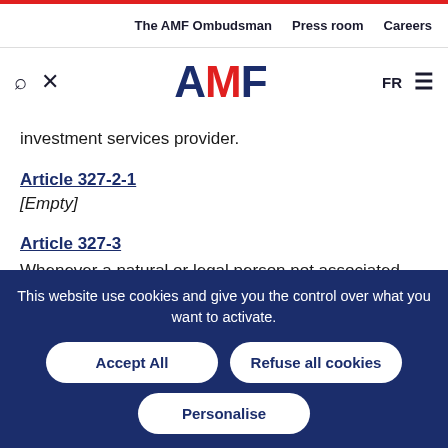The AMF Ombudsman  Press room  Careers
[Figure (logo): AMF logo with search and tools icons, FR language selector and hamburger menu]
investment services provider.
Article 327-2-1
[Empty]
Article 327-3
Whenever a natural or legal person not associated with an investment service provider is subject to internal
This website use cookies and give you the control over what you want to activate.